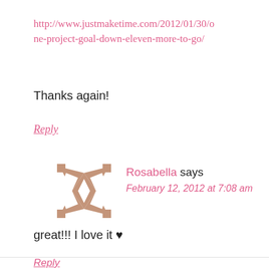http://www.justmaketime.com/2012/01/30/one-project-goal-down-eleven-more-to-go/
Thanks again!
Reply
[Figure (illustration): Decorative avatar icon with a checkered quilt-like star pattern in mauve/brown and white]
Rosabella says
February 12, 2012 at 7:08 am
great!!! I love it ♥
Reply